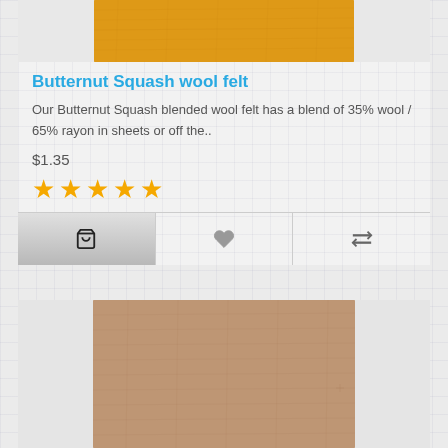[Figure (photo): Butternut Squash orange/amber wool felt texture swatch, partially cropped at top]
Butternut Squash wool felt
Our Butternut Squash blended wool felt has a blend of 35% wool / 65% rayon in sheets or off the..
$1.35
★★★★★ (5 stars)
Action bar with cart, heart/wishlist, and compare icons
[Figure (photo): Second product below: tan/brown wool felt texture swatch, mostly cropped, showing top portion]